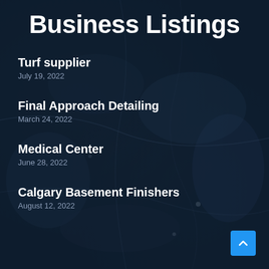Business Listings
Turf supplier
July 19, 2022
Final Approach Detailing
March 24, 2022
Medical Center
June 28, 2022
Calgary Basement Finishers
August 12, 2022